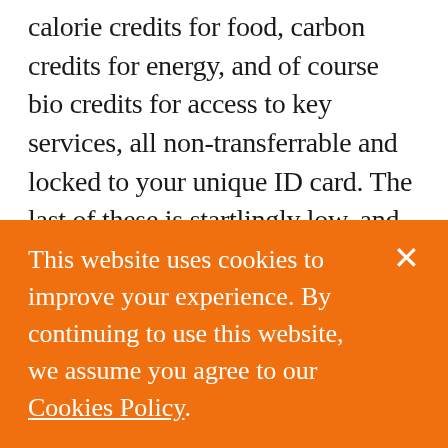calorie credits for food, carbon credits for energy, and of course bio credits for access to key services, all non-transferrable and locked to your unique ID card. The last of these is startlingly low, and you make a mental note to drop into the HMRC biobank to make your monthly PAYE deposit on the way home. You've already secured a discount on the Pod rent by paying blood into the landlord rejuvenation pool; the spinal fluid will be going t...
This website uses cookies to improve your experience. By continuing to use this website, we assume you agree to our Cookies Policy.